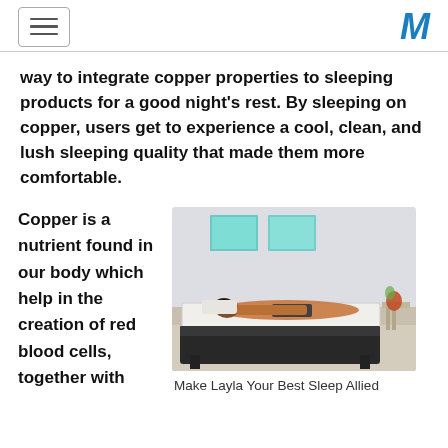[hamburger menu icon] [M logo]
way to integrate copper properties to sleeping products for a good night's rest. By sleeping on copper, users get to experience a cool, clean, and lush sleeping quality that made them more comfortable.
Copper is a nutrient found in our body which help in the creation of red blood cells, together with
[Figure (photo): Person lying face-down on a Layla mattress in a bedroom setting with teal wall art]
Make Layla Your Best Sleep Allied